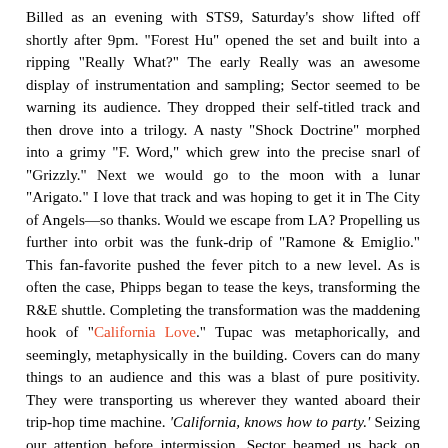Billed as an evening with STS9, Saturday's show lifted off shortly after 9pm. "Forest Hu" opened the set and built into a ripping "Really What?" The early Really was an awesome display of instrumentation and sampling; Sector seemed to be warning its audience. They dropped their self-titled track and then drove into a trilogy. A nasty "Shock Doctrine" morphed into a grimy "F. Word," which grew into the precise snarl of "Grizzly." Next we would go to the moon with a lunar "Arigato." I love that track and was hoping to get it in The City of Angels—so thanks. Would we escape from LA? Propelling us further into orbit was the funk-drip of "Ramone & Emiglio." This fan-favorite pushed the fever pitch to a new level. As is often the case, Phipps began to tease the keys, transforming the R&E shuttle. Completing the transformation was the maddening hook of "California Love." Tupac was metaphorically, and seemingly, metaphysically in the building. Covers can do many things to an audience and this was a blast of pure positivity. They were transporting us wherever they wanted aboard their trip-hop time machine. 'California, knows how to party.' Seizing our attention before intermission, Sector beamed us back on board the R&E shuttle. The first set was in the space-books.